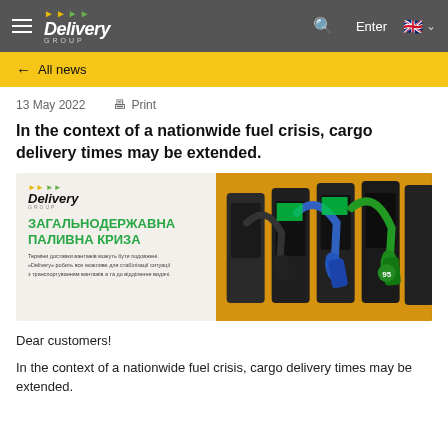Delivery GROUP — navigation header
← All news
13 May 2022   🖨 Print
In the context of a nationwide fuel crisis, cargo delivery times may be extended.
[Figure (photo): Delivery Group announcement image showing Ukrainian text 'ЗАГАЛЬНОДЕРЖАВНА ПАЛИВНА КРИЗА' (nationwide fuel crisis) on the left with Delivery Group logo, and fuel pump nozzles on the right side]
Dear customers!
In the context of a nationwide fuel crisis, cargo delivery times may be extended.